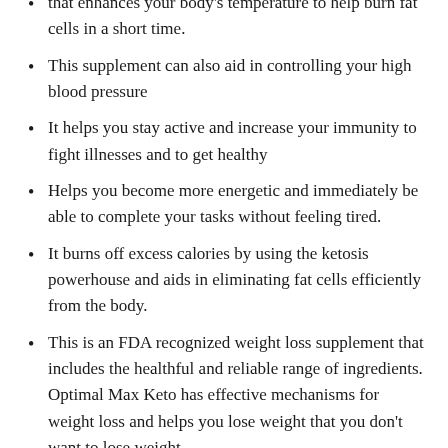that enhances your body's temperature to help burn fat cells in a short time.
This supplement can also aid in controlling your high blood pressure
It helps you stay active and increase your immunity to fight illnesses and to get healthy
Helps you become more energetic and immediately be able to complete your tasks without feeling tired.
It burns off excess calories by using the ketosis powerhouse and aids in eliminating fat cells efficiently from the body.
This is an FDA recognized weight loss supplement that includes the healthful and reliable range of ingredients. Optimal Max Keto has effective mechanisms for weight loss and helps you lose weight that you don't want to lose weight.
The supplement will help you feel healthier and more full for longer periods of time without hunger feeling throughout the